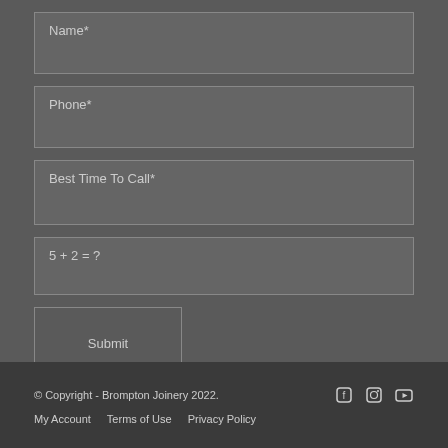[Figure (screenshot): Web form with four input fields: Name*, Phone*, Best Time To Call*, and a CAPTCHA field (5 + 2 = ?), followed by a Submit button. Dark gray background.]
© Copyright - Brompton Joinery 2022.   My Account   Terms of Use   Privacy Policy